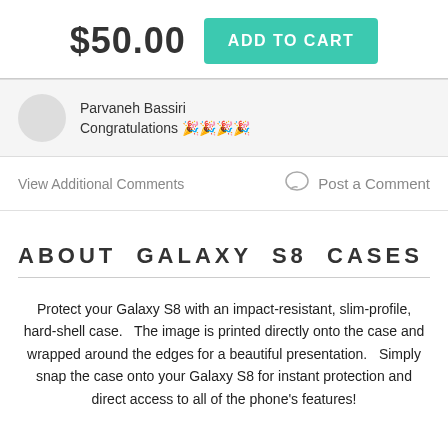$50.00
ADD TO CART
Parvaneh Bassiri
Congratulations 🎉🎉🎉🎉
View Additional Comments
Post a Comment
ABOUT GALAXY S8 CASES
Protect your Galaxy S8 with an impact-resistant, slim-profile, hard-shell case.   The image is printed directly onto the case and wrapped around the edges for a beautiful presentation.   Simply snap the case onto your Galaxy S8 for instant protection and direct access to all of the phone's features!